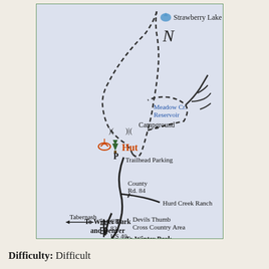[Figure (map): Trail map showing route from Tabernash/US 40 north through Devils Thumb Cross Country Area, Hurd Creek Ranch, County Rd. 84, Trailhead Parking, past Meadow Cr. Reservoir and Campground to Hut and Strawberry Lake. Dashed line indicates trail, solid curved lines indicate roads/creek. North arrow shown. Icons for hut and campground.]
Difficulty: Difficult